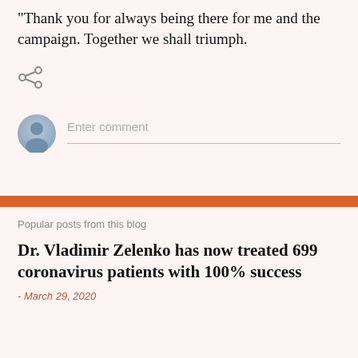“Thank you for always being there for me and the campaign. Together we shall triumph.
[Figure (other): Share icon (network/social share symbol)]
[Figure (other): User avatar circle icon with person silhouette and Enter comment input field]
Popular posts from this blog
Dr. Vladimir Zelenko has now treated 699 coronavirus patients with 100% success
- March 29, 2020